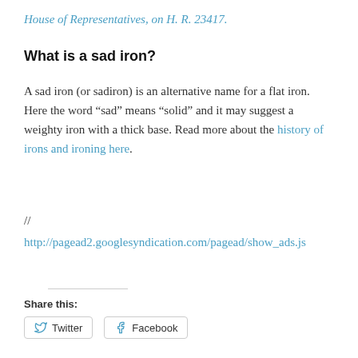House of Representatives, on H. R. 23417.
What is a sad iron?
A sad iron (or sadiron) is an alternative name for a flat iron. Here the word “sad” means “solid” and it may suggest a weighty iron with a thick base. Read more about the history of irons and ironing here.
//
http://pagead2.googlesyndication.com/pagead/show_ads.js
Share this:
Twitter  Facebook